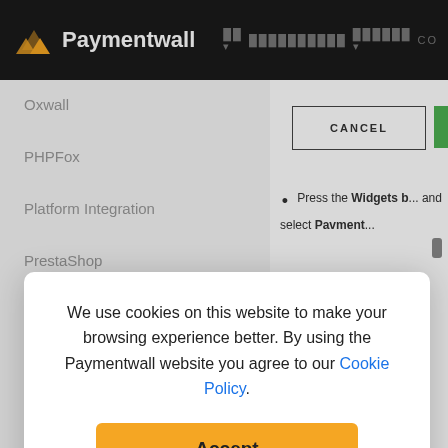Paymentwall
Oxwall
PHPFox
Platform Integration
PrestaShop
CANCEL
Press the Widgets b... and select Pavment...
We use cookies on this website to make your browsing experience better. By using the Paymentwall website you agree to our Cookie Policy.
Accept
VirtueMart
WHMCS